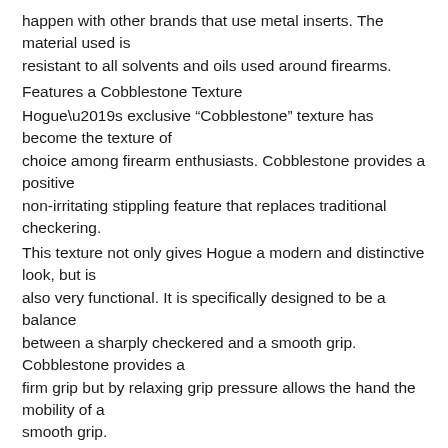happen with other brands that use metal inserts. The material used is resistant to all solvents and oils used around firearms.
Features a Cobblestone Texture
Hogue’s exclusive “Cobblestone” texture has become the texture of choice among firearm enthusiasts. Cobblestone provides a positive non-irritating stippling feature that replaces traditional checkering.
This texture not only gives Hogue a modern and distinctive look, but is also very functional. It is specifically designed to be a balance between a sharply checkered and a smooth grip. Cobblestone provides a firm grip but by relaxing grip pressure allows the hand the mobility of a smooth grip.
**Not for the Ruger LCP with Crimson Trace